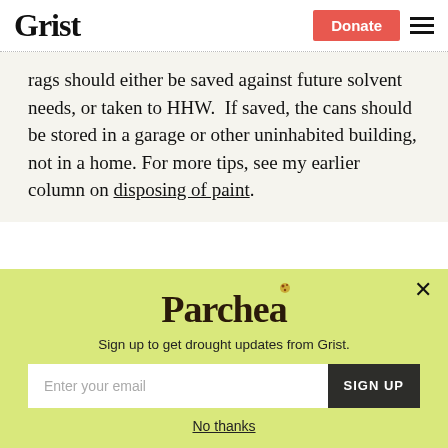Grist | Donate
rags should either be saved against future solvent needs, or taken to HHW. If saved, the cans should be stored in a garage or other uninhabited building, not in a home. For more tips, see my earlier column on disposing of paint.
[Figure (infographic): Parched newsletter signup popup on yellow-green background. Contains Parched logo, subtitle 'Sign up to get drought updates from Grist.', email input field, SIGN UP button, and 'No thanks' link.]